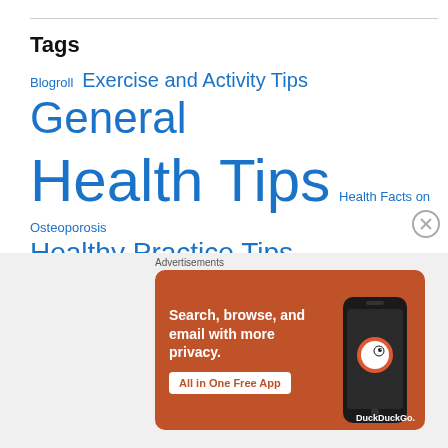Tags
Blogroll  Exercise and Activity Tips  General  Health Tips  Health Facts on Osteoporosis  Healthy Practice Tips  Lifestyle Measures  Medical News Bits  Memories and Trips  Nutrition Health Tips  Personal Thoughts
[Figure (screenshot): DuckDuckGo advertisement banner: orange background with text 'Search, browse, and email with more privacy. All in One Free App' and a phone image with DuckDuckGo logo]
Advertisements